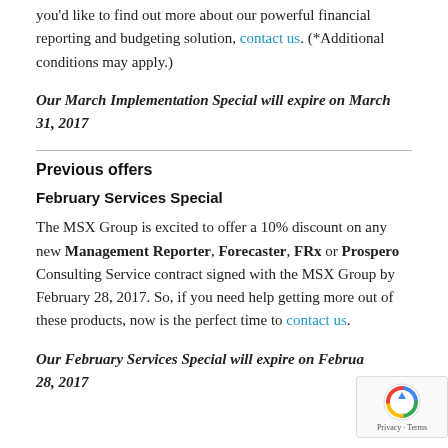you'd like to find out more about our powerful financial reporting and budgeting solution, contact us. (*Additional conditions may apply.)
Our March Implementation Special will expire on March 31, 2017
Previous offers
February Services Special
The MSX Group is excited to offer a 10% discount on any new Management Reporter, Forecaster, FRx or Prospero Consulting Service contract signed with the MSX Group by February 28, 2017. So, if you need help getting more out of these products, now is the perfect time to contact us.
Our February Services Special will expire on February 28, 2017